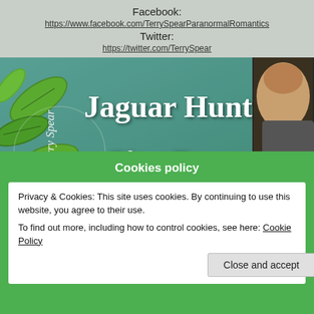Facebook:
https://www.facebook.com/TerrySpearParanormalRomantics
Twitter:
https://twitter.com/TerrySpear
[Figure (illustration): Jaguar Hunt Blog Tour banner image with green leaves, teal background, a man's face partially visible on the right, and book cover text including 'Terry Spear', 'Jaguar Hunt', 'Blog Tour']
Cookies policy
Privacy & Cookies: This site uses cookies. By continuing to use this website, you agree to their use.
To find out more, including how to control cookies, see here: Cookie Policy
Close and accept